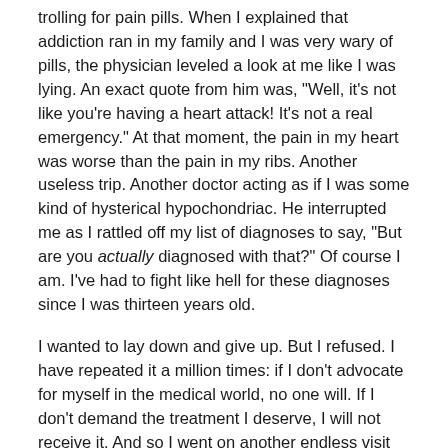trolling for pain pills. When I explained that addiction ran in my family and I was very wary of pills, the physician leveled a look at me like I was lying. An exact quote from him was, "Well, it's not like you're having a heart attack! It's not a real emergency." At that moment, the pain in my heart was worse than the pain in my ribs. Another useless trip. Another doctor acting as if I was some kind of hysterical hypochondriac. He interrupted me as I rattled off my list of diagnoses to say, "But are you actually diagnosed with that?" Of course I am. I've had to fight like hell for these diagnoses since I was thirteen years old.
I wanted to lay down and give up. But I refused. I have repeated it a million times: if I don't advocate for myself in the medical world, no one will. If I don't demand the treatment I deserve, I will not receive it. And so I went on another endless visit with my PCP. I was firm: I wanted a blood test, I wanted referrals to a chiropractor, and I